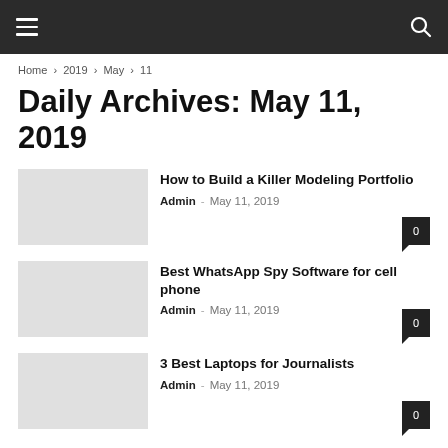Navigation bar with hamburger menu and search icon
Home › 2019 › May › 11
Daily Archives: May 11, 2019
How to Build a Killer Modeling Portfolio — Admin - May 11, 2019 — 0 comments
Best WhatsApp Spy Software for cell phone — Admin - May 11, 2019 — 0 comments
3 Best Laptops for Journalists — Admin - May 11, 2019 — 0 comments